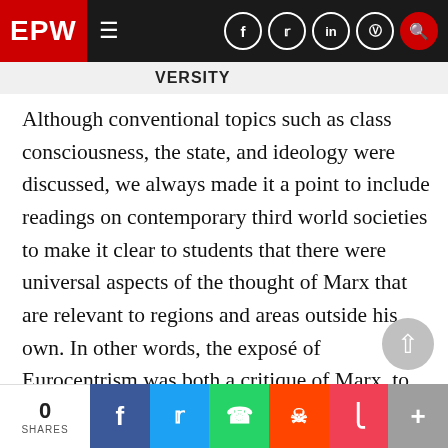EPW
VERSITY
Although conventional topics such as class consciousness, the state, and ideology were discussed, we always made it a point to include readings on contemporary third world societies to make it clear to students that there were universal aspects of the thought of Marx that are relevant to regions and areas outside his own. In other words, the exposé of Eurocentrism was both a critique of Marx, to the extent that his views were informed by the Orientalist “wisdom” of his time, and a rescue of Marx, to the extent that there are universal elements in his theoretical
0 SHARES  f  t  WhatsApp  Reddit  Pocket  +